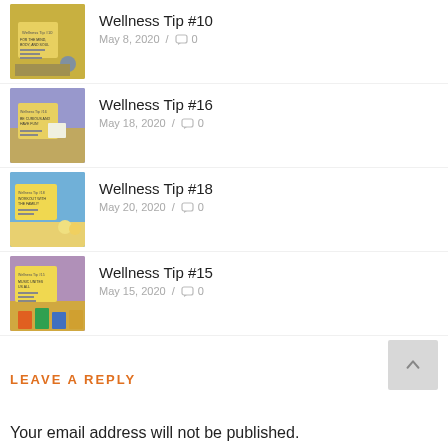Wellness Tip #10 / May 8, 2020 / 0 comments
Wellness Tip #16 / May 18, 2020 / 0 comments
Wellness Tip #18 / May 20, 2020 / 0 comments
Wellness Tip #15 / May 15, 2020 / 0 comments
LEAVE A REPLY
Your email address will not be published.